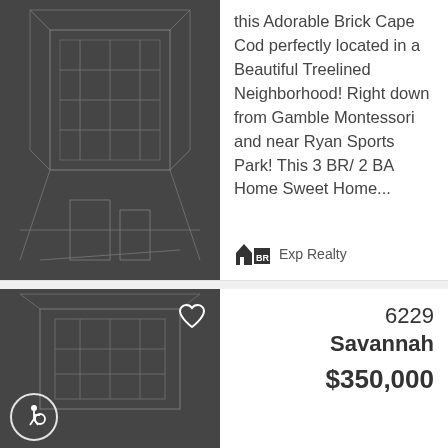[Figure (photo): Dark background image of a building/house wireframe or aerial view in gray tones]
this Adorable Brick Cape Cod perfectly located in a Beautiful Treelined Neighborhood! Right down from Gamble Montessori and near Ryan Sports Park! This 3 BR/ 2 BA Home Sweet Home...
Exp Realty
[Figure (photo): Dark background image of a building, with heart icon and accessibility icon overlay]
6229 Savannah
$350,000